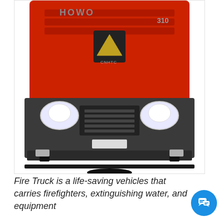[Figure (photo): Front view of a red HOWO 310 fire truck / heavy vehicle against a white background. The truck shows the front grille, headlights, bumper, and the SINOTRUK/CNHTC logo. Brand name HOWO and model 310 are visible.]
Fire Truck is a life-saving vehicles that carries firefighters, extinguishing water, and equipment